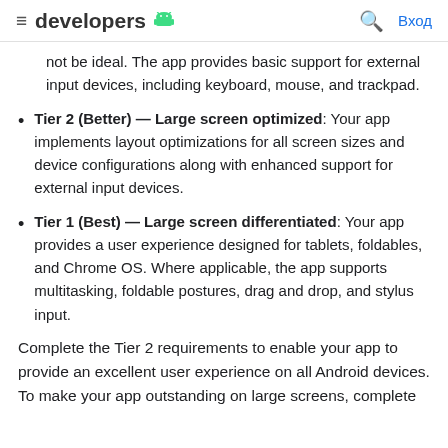developers [android logo] [search] Вход
not be ideal. The app provides basic support for external input devices, including keyboard, mouse, and trackpad.
Tier 2 (Better) — Large screen optimized: Your app implements layout optimizations for all screen sizes and device configurations along with enhanced support for external input devices.
Tier 1 (Best) — Large screen differentiated: Your app provides a user experience designed for tablets, foldables, and Chrome OS. Where applicable, the app supports multitasking, foldable postures, drag and drop, and stylus input.
Complete the Tier 2 requirements to enable your app to provide an excellent user experience on all Android devices. To make your app outstanding on large screens, complete